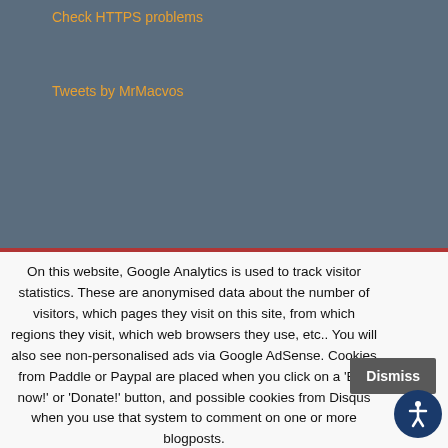Check HTTPS problems
Tweets by MrMacvos
On this website, Google Analytics is used to track visitor statistics. These are anonymised data about the number of visitors, which pages they visit on this site, from which regions they visit, which web browsers they use, etc.. You will also see non-personalised ads via Google AdSense. Cookies from Paddle or Paypal are placed when you click on a 'Buy now!' or 'Donate!' button, and possible cookies from Disqus when you use that system to comment on one or more blogposts.
Privacy Statement
Dismiss